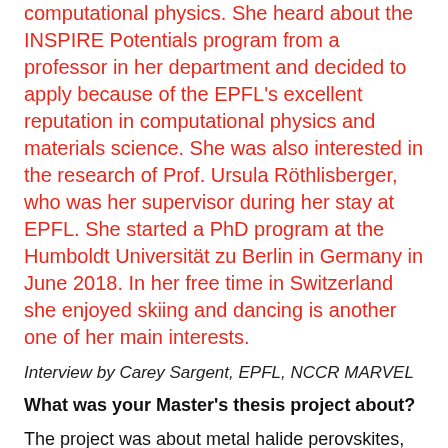computational physics. She heard about the INSPIRE Potentials program from a professor in her department and decided to apply because of the EPFL's excellent reputation in computational physics and materials science. She was also interested in the research of Prof. Ursula Röthlisberger, who was her supervisor during her stay at EPFL. She started a PhD program at the Humboldt Universität zu Berlin in Germany in June 2018. In her free time in Switzerland she enjoyed skiing and dancing is another one of her main interests.
Interview by Carey Sargent, EPFL, NCCR MARVEL
What was your Master's thesis project about?
The project was about metal halide perovskites, which in the last years have created a lot of interest in the scientific community, since they are promising material for next generation solar cells. One of their main problems is instability however. In particular, these materials exist in